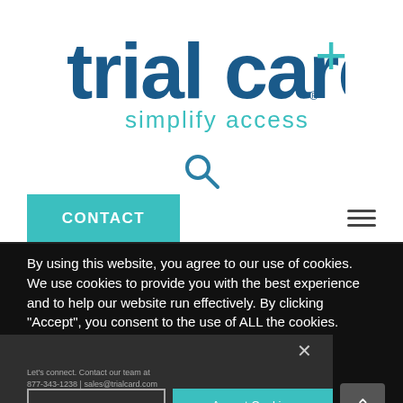[Figure (logo): TrialCard+ logo with 'simplify access' tagline in teal/blue colors]
[Figure (other): Search magnifying glass icon in teal/blue color]
CONTACT
[Figure (other): Hamburger menu icon (three horizontal lines)]
By using this website, you agree to our use of cookies. We use cookies to provide you with the best experience and to help our website run effectively. By clicking “Accept”, you consent to the use of ALL the cookies.
Let’s connect. Contact our team at 877-343-1238 | sales@trialcard.com
Cookie settings
Accept Cookies